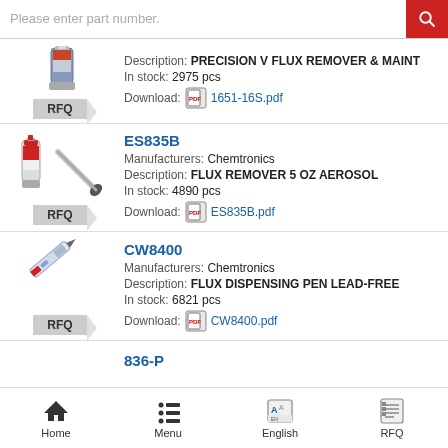[Figure (screenshot): Search bar with placeholder text 'Please enter part number.' and red search button]
Description: PRECISION V FLUX REMOVER & MAINT
In stock: 2975 pcs
Download: 1651-16S.pdf
ES835B
Manufacturers: Chemtronics
Description: FLUX REMOVER 5 OZ AEROSOL
In stock: 4890 pcs
Download: ES835B.pdf
CW8400
Manufacturers: Chemtronics
Description: FLUX DISPENSING PEN LEAD-FREE
In stock: 6821 pcs
Download: CW8400.pdf
836-P
Home  Menu  English  RFQ